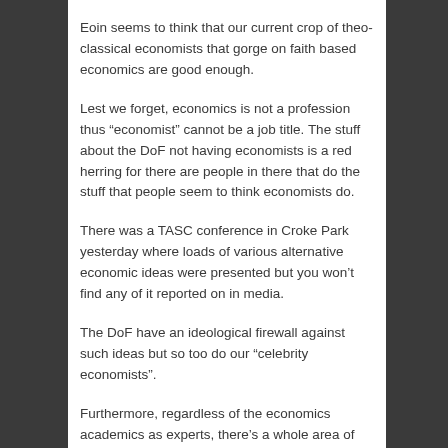Eoin seems to think that our current crop of theo-classical economists that gorge on faith based economics are good enough.
Lest we forget, economics is not a profession thus "economist" cannot be a job title. The stuff about the DoF not having economists is a red herring for there are people in there that do the stuff that people seem to think economists do.
There was a TASC conference in Croke Park yesterday where loads of various alternative economic ideas were presented but you won't find any of it reported on in media.
The DoF have an ideological firewall against such ideas but so too do our “celebrity economists”.
Furthermore, regardless of the economics academics as experts, there’s a whole area of research into inequality and the social effects the recession and “austerity” is having.